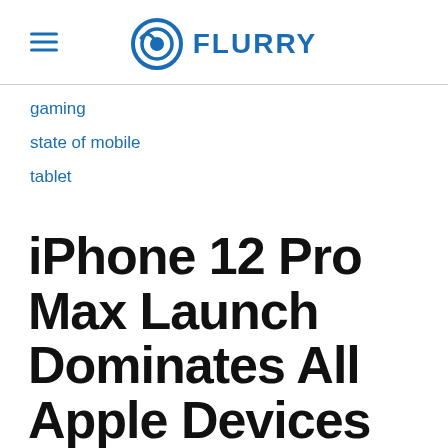FLURRY
gaming
state of mobile
tablet
iPhone 12 Pro Max Launch Dominates All Apple Devices Over Last Three